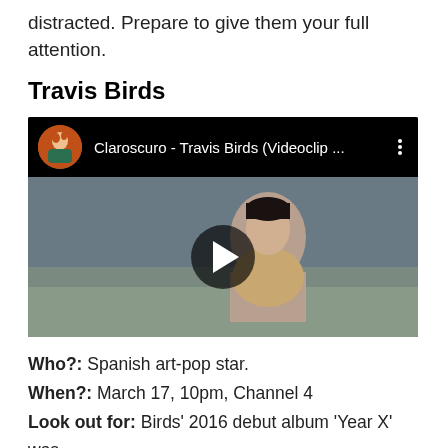distracted. Prepare to give them your full attention.
Travis Birds
[Figure (screenshot): YouTube video thumbnail showing 'Claroscuro - Travis Birds (Videoclip ...' with a play button overlay and a person in a leopard-print coat outdoors]
Who?: Spanish art-pop star.
When?: March 17, 10pm, Channel 4
Look out for: Birds' 2016 debut album 'Year X' was